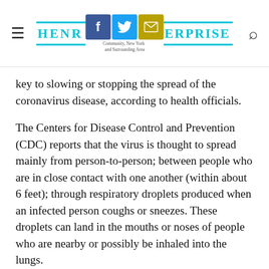Henry County Enterprise — Community news — social icons
key to slowing or stopping the spread of the coronavirus disease, according to health officials.
The Centers for Disease Control and Prevention (CDC) reports that the virus is thought to spread mainly from person-to-person; between people who are in close contact with one another (within about 6 feet); through respiratory droplets produced when an infected person coughs or sneezes. These droplets can land in the mouths or noses of people who are nearby or possibly be inhaled into the lungs.
To help avoid the illness, the CDC recommends cleaning your hands often, by washing with soap and water for at least 20 seconds, especially after you have been in a public place, or after blowing your nose, coughing, or